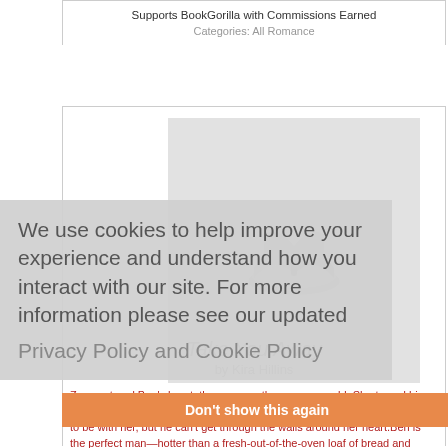Supports BookGorilla with Commissions Earned
Categories: All Romance
[Figure (illustration): Book placeholder image with open book icon on light gray background]
Take You Away
by Kira Hillins
We use cookies to help improve your experience and understand how you interact with our site. For more information please see our updated Privacy Policy and Cookie Policy
Don't show this again
Zoe captured Ben's heart, the way no other person could. She tamed his anger and eased his sorrow over the loss of his brother. He'd do anything to be with her, but he can't get through the walls around her heart.Ben is the perfect man—hotter than a fresh-out-of-the-oven loaf of bread and sweeter than a pumpkin pie. For two years he's...